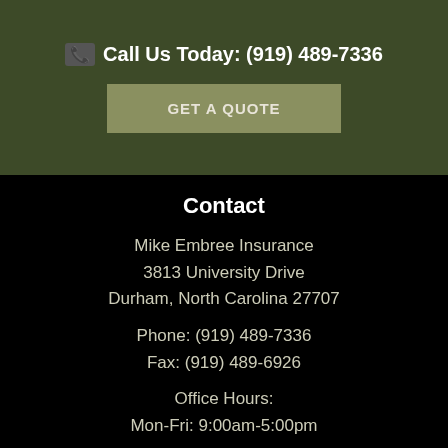📞 Call Us Today: (919) 489-7336
GET A QUOTE
Contact
Mike Embree Insurance
3813 University Drive
Durham, North Carolina 27707
Phone: (919) 489-7336
Fax: (919) 489-6926
Office Hours:
Mon-Fri: 9:00am-5:00pm